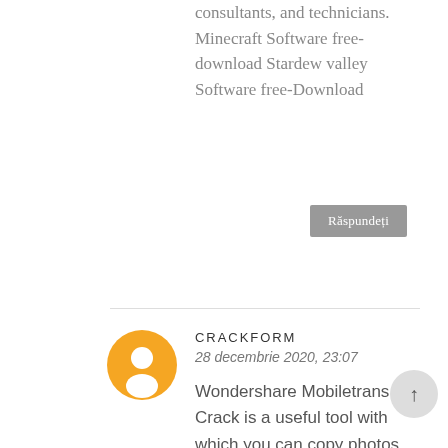consultants, and technicians. Minecraft Software free-download Stardew valley Software free-Download
Răspundeți
CRACKFORM
28 decembrie 2020, 23:07
Wondershare Mobiletrans Crack is a useful tool with which you can copy photos, contacts, texts, call